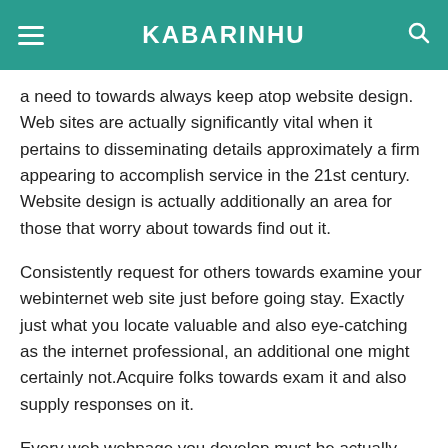KABARINHU
a need to towards always keep atop website design. Web sites are actually significantly vital when it pertains to disseminating details approximately a firm appearing to accomplish service in the 21st century. Website design is actually additionally an area for those that worry about towards find out it.
Consistently request for others towards examine your webinternet web site just before going stay. Exactly just what you locate valuable and also eye-catching as the internet professional, an additional one might certainly not.Acquire folks towards exam it and also supply responses on it.
Every web webpage you develop must be actually validated. Certainly there certainly are actually lots of publishers around that incorporate unwanted scrap codes